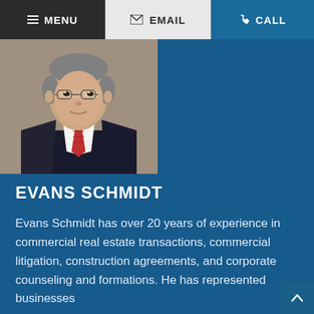≡ MENU   ✉ EMAIL   ✆ CALL
[Figure (photo): Professional headshot of Evans Schmidt, a middle-aged man wearing glasses, a dark suit jacket, white shirt, and red tie, photographed against a gray background.]
EVANS SCHMIDT
Evans Schmidt has over 20 years of experience in commercial real estate transactions, commercial litigation, construction agreements, and corporate counseling and formations. He has represented businesses